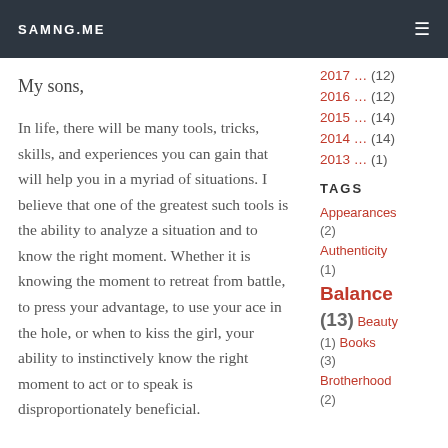SAMNG.ME
My sons,
In life, there will be many tools, tricks, skills, and experiences you can gain that will help you in a myriad of situations. I believe that one of the greatest such tools is the ability to analyze a situation and to know the right moment. Whether it is knowing the moment to retreat from battle, to press your advantage, to use your ace in the hole, or when to kiss the girl, your ability to instinctively know the right moment to act or to speak is disproportionately beneficial.
2017 … (12)
2016 … (12)
2015 … (14)
2014 … (14)
2013 … (1)
TAGS
Appearances (2)
Authenticity (1)
Balance (13)
Beauty (1)
Books (3)
Brotherhood (2)